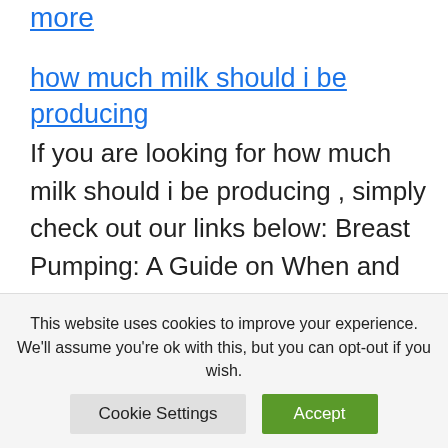more
how much milk should i be producing
If you are looking for how much milk should i be producing , simply check out our links below: Breast Pumping: A Guide on When and How Long to Pump ... If you're exclusively pumping, on average, you should try maintain full milk production of about 25-35 oz. (750-1,035 mL) per 24
This website uses cookies to improve your experience. We'll assume you're ok with this, but you can opt-out if you wish.
Cookie Settings
Accept